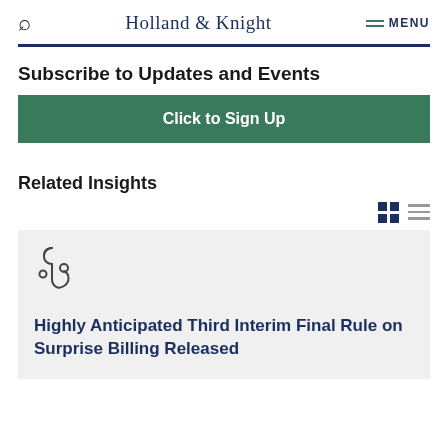Holland & Knight  MENU
Subscribe to Updates and Events
Click to Sign Up
Related Insights
Highly Anticipated Third Interim Final Rule on Surprise Billing Released